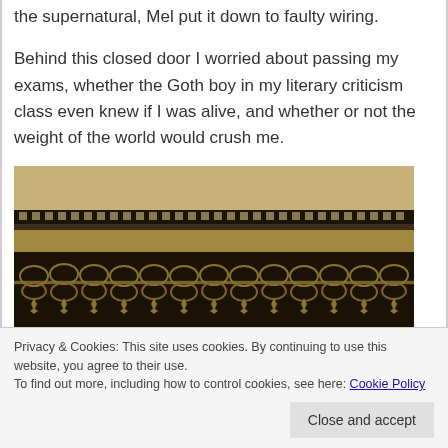the supernatural, Mel put it down to faulty wiring.
Behind this closed door I worried about passing my exams, whether the Goth boy in my literary criticism class even knew if I was alive, and whether or not the weight of the world would crush me.
[Figure (photo): Sepia-toned photograph showing ornate architectural detail — decorative ironwork frieze with scrolling floral/vine patterns on a building facade, with rows of small decorative elements along the top edge.]
Privacy & Cookies: This site uses cookies. By continuing to use this website, you agree to their use.
To find out more, including how to control cookies, see here: Cookie Policy
Close and accept